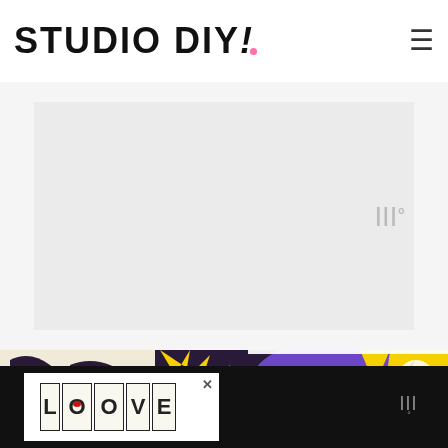STUDIO DIY!
[Figure (illustration): Advertisement banner placeholder with light gray background and Waldo logo watermark in bottom right]
[Figure (photo): Colorful street art mural with abstract shapes, stars, clouds, and bold colors including purple, red, orange, teal, and yellow on dark background with black and white woven pattern on left side]
1
WHAT'S NEXT → #StudioDIYWall The Best Walls i
[Figure (illustration): LOVE text logo with decorative illustration in black and white with red accent, displayed in advertisement overlay bar at bottom]